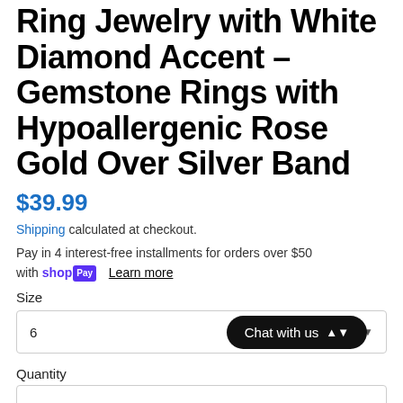Ring Jewelry with White Diamond Accent – Gemstone Rings with Hypoallergenic Rose Gold Over Silver Band
$39.99
Shipping calculated at checkout.
Pay in 4 interest-free installments for orders over $50 with shop Pay  Learn more
Size
6
Chat with us
Quantity